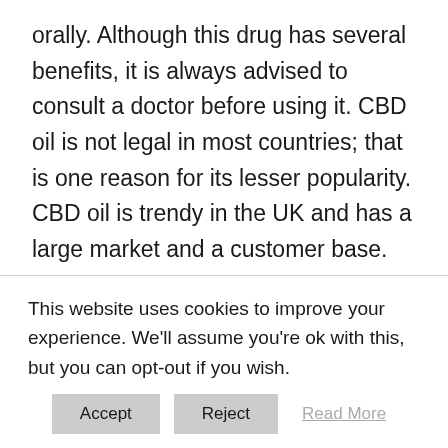orally. Although this drug has several benefits, it is always advised to consult a doctor before using it. CBD oil is not legal in most countries; that is one reason for its lesser popularity. CBD oil is trendy in the UK and has a large market and a customer base.
This website uses cookies to improve your experience. We'll assume you're ok with this, but you can opt-out if you wish.